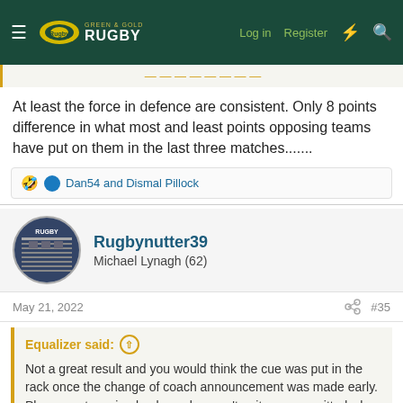Green & Gold Rugby — Log in | Register
At least the force in defence are consistent. Only 8 points difference in what most and least points opposing teams have put on them in the last three matches.......
Dan54 and Dismal Pillock
Rugbynutter39
Michael Lynagh (62)
May 21, 2022   #35
Equalizer said:
Not a great result and you would think the cue was put in the rack once the change of coach announcement was made early. Players not coming back maybe aren't quite so committed when they could risk injury prior to going to a new team. Selections have been odd,.often with the replacements playing better and giving the team more impetus. Michael McDonald looked assured as did Pugh. The